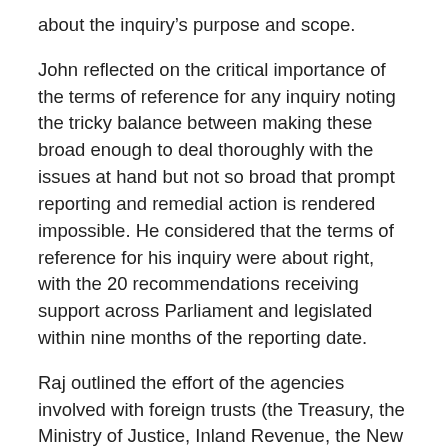about the inquiry's purpose and scope.
John reflected on the critical importance of the terms of reference for any inquiry noting the tricky balance between making these broad enough to deal thoroughly with the issues at hand but not so broad that prompt reporting and remedial action is rendered impossible. He considered that the terms of reference for his inquiry were about right, with the 20 recommendations receiving support across Parliament and legislated within nine months of the reporting date.
Raj outlined the effort of the agencies involved with foreign trusts (the Treasury, the Ministry of Justice, Inland Revenue, the New Zealand Police, and the Department of Internal Affairs) in supporting the Government's response to the Panama Papers. The second phase of this response, for which these agencies are now preparing, involves the extension of anti-money-laundering rules to advisors such as accountants and lawyers. John felt that the rules had been too open until now, and he told the